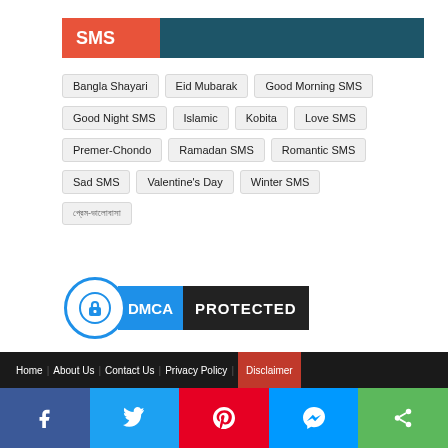SMS
Bangla Shayari
Eid Mubarak
Good Morning SMS
Good Night SMS
Islamic
Kobita
Love SMS
Premer-Chondo
Ramadan SMS
Romantic SMS
Sad SMS
Valentine's Day
Winter SMS
প্রেম-ভালোবাসা
[Figure (logo): DMCA Protected badge with blue circle lock icon]
Home  About Us  Contact Us  Privacy Policy  Disclaimer
Facebook  Twitter  Pinterest  Messenger  Share social bar